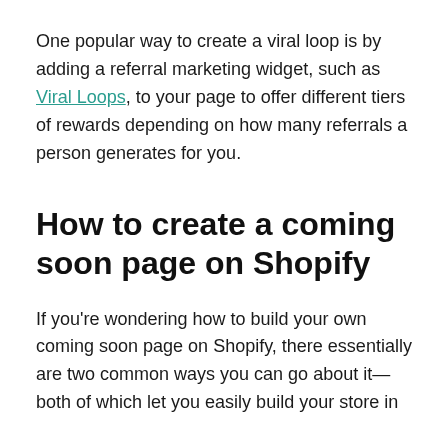One popular way to create a viral loop is by adding a referral marketing widget, such as Viral Loops, to your page to offer different tiers of rewards depending on how many referrals a person generates for you.
How to create a coming soon page on Shopify
If you're wondering how to build your own coming soon page on Shopify, there essentially are two common ways you can go about it—both of which let you easily build your store in